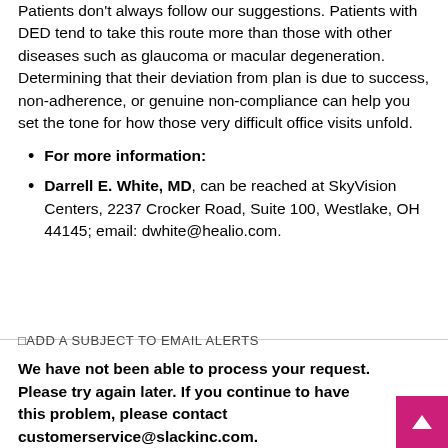Patients don't always follow our suggestions. Patients with DED tend to take this route more than those with other diseases such as glaucoma or macular degeneration. Determining that their deviation from plan is due to success, non-adherence, or genuine non-compliance can help you set the tone for how those very difficult office visits unfold.
For more information:
Darrell E. White, MD, can be reached at SkyVision Centers, 2237 Crocker Road, Suite 100, Westlake, OH 44145; email: dwhite@healio.com.
□ADD A SUBJECT TO EMAIL ALERTS
We have not been able to process your request. Please try again later. If you continue to have this problem, please contact customerservice@slackinc.com.